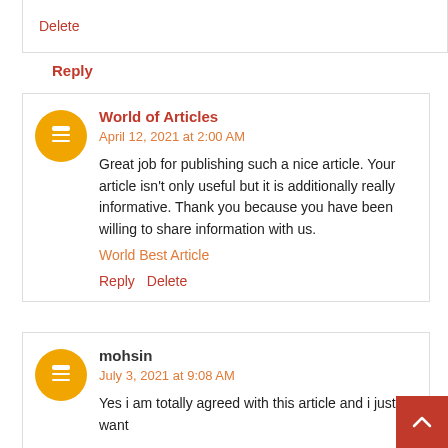Delete
Reply
World of Articles
April 12, 2021 at 2:00 AM
Great job for publishing such a nice article. Your article isn't only useful but it is additionally really informative. Thank you because you have been willing to share information with us.
World Best Article
Reply  Delete
mohsin
July 3, 2021 at 9:08 AM
Yes i am totally agreed with this article and i just want